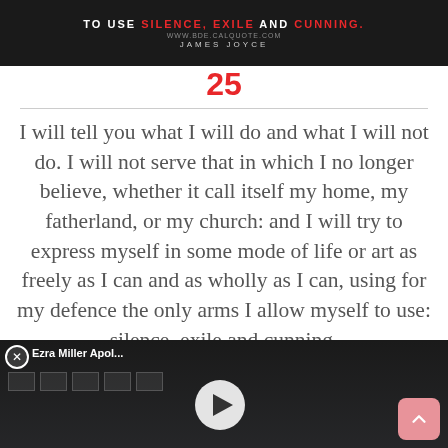[Figure (screenshot): Dark banner with text referencing James Joyce and bold words SILENCE, EXILE AND CUNNING with a website URL]
25
I will tell you what I will do and what I will not do. I will not serve that in which I no longer believe, whether it call itself my home, my fatherland, or my church: and I will try to express myself in some mode of life or art as freely as I can and as wholly as I can, using for my defence the only arms I allow myself to use: silence, exile and cunning.
— A Portrait of the Artist as a Young Man (1916)
[Figure (screenshot): Video overlay popup: Ezra Miller Apologizes for Behavior, Seeks Mental Health Treatment. Shows event backdrop with logos and a play button.]